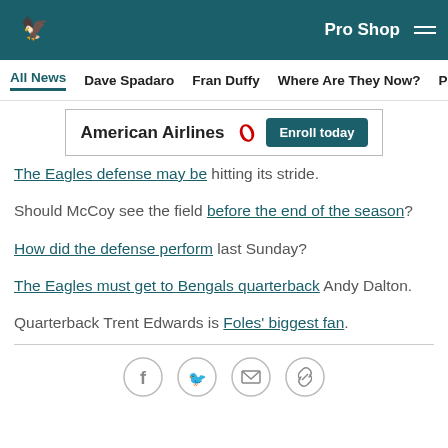Philadelphia Eagles – Pro Shop (navigation header)
All News | Dave Spadaro | Fran Duffy | Where Are They Now? | Pu…
[Figure (other): American Airlines advertisement banner with Enroll today button]
The Eagles defense may be hitting its stride.
Should McCoy see the field before the end of the season?
How did the defense perform last Sunday?
The Eagles must get to Bengals quarterback Andy Dalton.
Quarterback Trent Edwards is Foles' biggest fan.
[Figure (other): Social sharing icons: Facebook, Twitter, Email, Link]